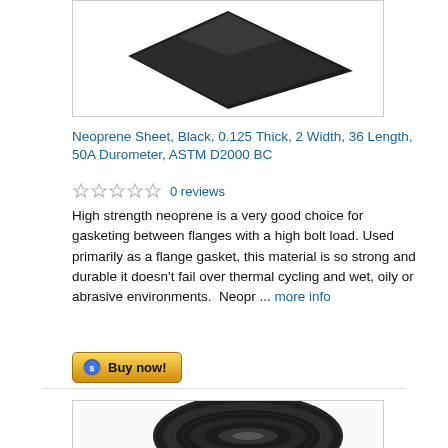[Figure (photo): Black neoprene sheet shown as a dark diamond/rhombus shape against white background]
Neoprene Sheet, Black, 0.125 Thick, 2 Width, 36 Length, 50A Durometer, ASTM D2000 BC
0 reviews
High strength neoprene is a very good choice for gasketing between flanges with a high bolt load. Used primarily as a flange gasket, this material is so strong and durable it doesn't fail over thermal cycling and wet, oily or abrasive environments.  Neopr ... more info
[Figure (photo): Rolled black neoprene rubber strip shown from above, partially visible at bottom of page]